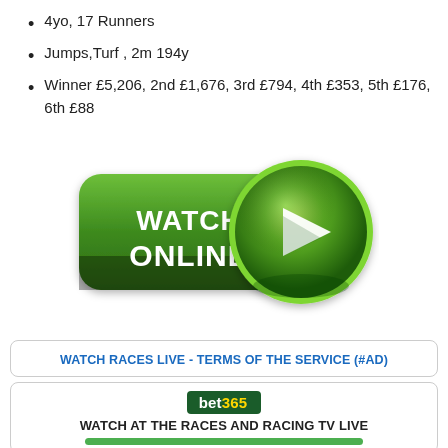4yo, 17 Runners
Jumps,Turf , 2m 194y
Winner £5,206, 2nd £1,676, 3rd £794, 4th £353, 5th £176, 6th £88
[Figure (illustration): Green 'Watch Online' button with a circular play button icon on the right side. The button has a dark green rounded rectangle with 'WATCH ONLINE' in white bold text, and a green circle with a white play triangle on the right.]
WATCH RACES LIVE - TERMS OF THE SERVICE (#Ad)
[Figure (logo): bet365 logo — dark green rounded rectangle with 'bet' in white and '365' in yellow text]
WATCH AT THE RACES AND RACING TV LIVE